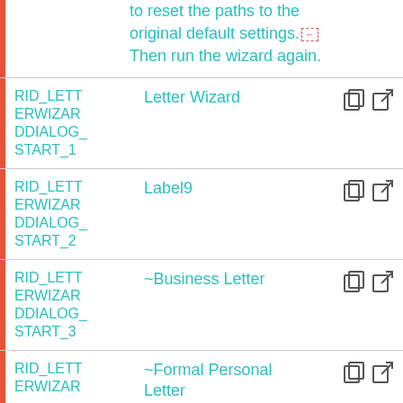| ID | Label | Icons |
| --- | --- | --- |
|  | to reset the paths to the original default settings. Then run the wizard again. |  |
| RID_LETTERWIZARDDIALOG_START_1 | Letter Wizard | copy link |
| RID_LETTERWIZARDDIALOG_START_2 | Label9 | copy link |
| RID_LETTERWIZARDDIALOG_START_3 | ~Business Letter | copy link |
| RID_LETTERWIZARDDIALOG_START_4 (partial) | ~Formal Personal Letter | copy link |